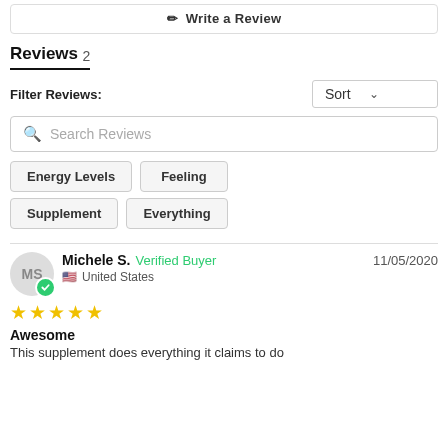✏ Write a Review
Reviews 2
Filter Reviews:
Sort
Search Reviews
Energy Levels
Feeling
Supplement
Everything
Michele S.  Verified Buyer  11/05/2020  United States
Awesome
This supplement does everything it claims to do